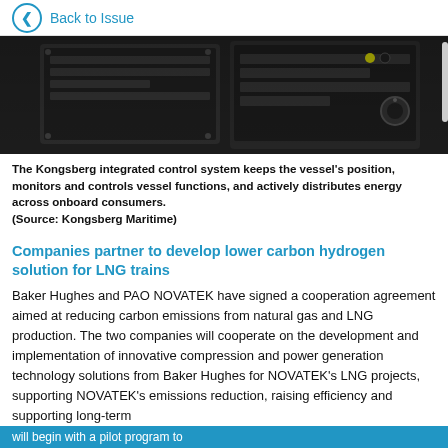Back to Issue
[Figure (photo): Close-up photo of Kongsberg integrated control system hardware panels in dark setting]
The Kongsberg integrated control system keeps the vessel's position, monitors and controls vessel functions, and actively distributes energy across onboard consumers. (Source: Kongsberg Maritime)
Companies partner to develop lower carbon hydrogen solution for LNG trains
Baker Hughes and PAO NOVATEK have signed a cooperation agreement aimed at reducing carbon emissions from natural gas and LNG production. The two companies will cooperate on the development and implementation of innovative compression and power generation technology solutions from Baker Hughes for NOVATEK's LNG projects, supporting NOVATEK's emissions reduction, raising efficiency and supporting long-term
will begin with a pilot program to